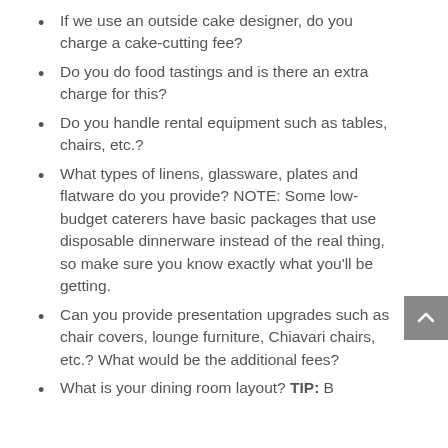If we use an outside cake designer, do you charge a cake-cutting fee?
Do you do food tastings and is there an extra charge for this?
Do you handle rental equipment such as tables, chairs, etc.?
What types of linens, glassware, plates and flatware do you provide? NOTE: Some low-budget caterers have basic packages that use disposable dinnerware instead of the real thing, so make sure you know exactly what you’ll be getting.
Can you provide presentation upgrades such as chair covers, lounge furniture, Chiavari chairs, etc.? What would be the additional fees?
What is your dining room layout? TIP: B…